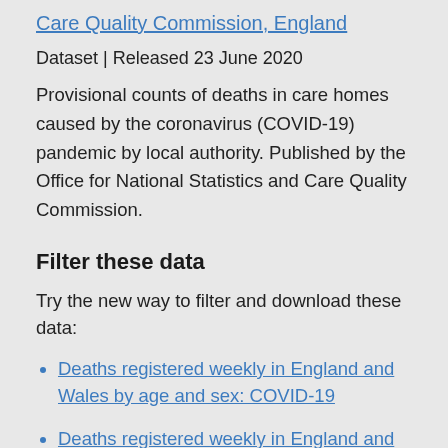Care Quality Commission, England
Dataset | Released 23 June 2020
Provisional counts of deaths in care homes caused by the coronavirus (COVID-19) pandemic by local authority. Published by the Office for National Statistics and Care Quality Commission.
Filter these data
Try the new way to filter and download these data:
Deaths registered weekly in England and Wales by age and sex: COVID-19
Deaths registered weekly in England and Wales by region: COVID-19